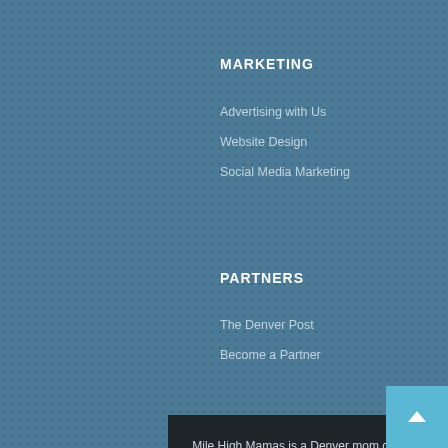MARKETING
Advertising with Us
Website Design
Social Media Marketing
PARTNERS
The Denver Post
Become a Partner
Mile High Mamas is a Denver mom community with contributions from top mom bloggers across Colorado. On Mile High Mamas you may read hilarious mommy blogs, product reviews, Denver Business Directory, win prizes and connect with local Denver moms.